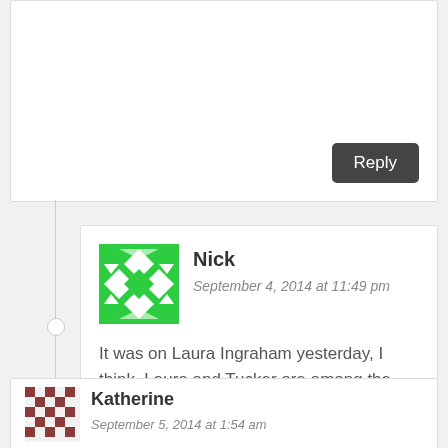[Figure (other): Reply button in top comment box]
[Figure (illustration): Nick's avatar - green geometric pattern]
Nick
September 4, 2014 at 11:49 pm
It was on Laura Ingraham yesterday, I think. Laura and Tucker are among the few who don't want to bomb everything that moves.
[Figure (illustration): Katherine's avatar - brown/red pixel pattern]
Katherine
September 5, 2014 at 1:54 am